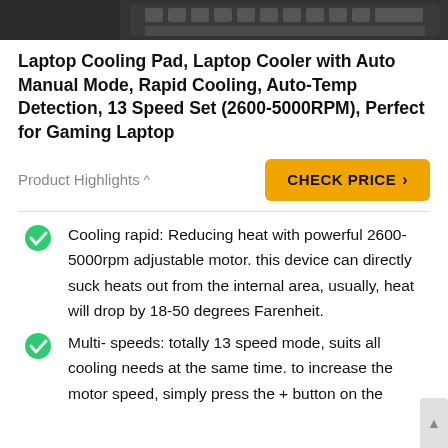[Figure (photo): Top portion of product image showing a laptop cooling pad with keyboard visible]
Laptop Cooling Pad, Laptop Cooler with Auto Manual Mode, Rapid Cooling, Auto-Temp Detection, 13 Speed Set (2600-5000RPM), Perfect for Gaming Laptop
Product Highlights ∧
CHECK PRICE >
Cooling rapid: Reducing heat with powerful 2600-5000rpm adjustable motor. this device can directly suck heats out from the internal area, usually, heat will drop by 18-50 degrees Farenheit.
Multi- speeds: totally 13 speed mode, suits all cooling needs at the same time. to increase the motor speed, simply press the + button on the